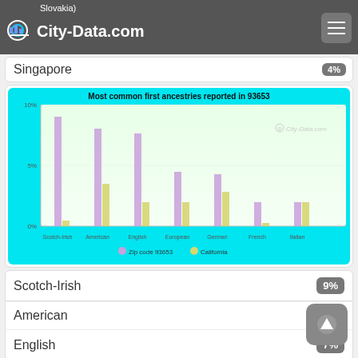Slovakia) City-Data.com
Singapore
[Figure (grouped-bar-chart): Most common first ancestries reported in 93653]
Scotch-Irish
American
English